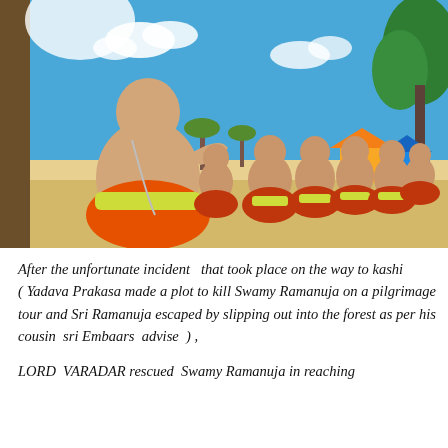[Figure (illustration): A colorful illustrated scene showing a bald sage or teacher (seen from the back) wearing orange robes with a yellow sash, gesturing with one hand toward a group of disciples seated cross-legged in orange robes with yellow sashes. The background shows a sunny outdoor scene with blue sky, white clouds, green trees, palm trees, and hut structures.]
After the unfortunate incident  that took place on the way to kashi         ( Yadava Prakasa made a plot to kill Swamy Ramanuja on a pilgrimage tour and Sri Ramanuja escaped by slipping out into the forest as per his cousin  sri Embaars  advise  ) ,
LORD  VARADAR rescued  Swamy Ramanuja in reaching